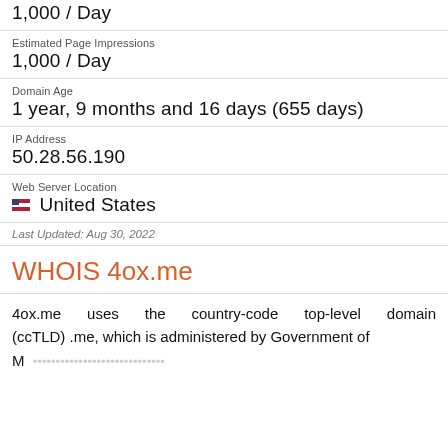| Estimated Page Impressions | 1,000 / Day |
| Domain Age | 1 year, 9 months and 16 days (655 days) |
| IP Address | 50.28.56.190 |
| Web Server Location | 🇺🇸  United States |
Last Updated: Aug 30, 2022
WHOIS 4ox.me
4ox.me uses the country-code top-level domain (ccTLD) .me, which is administered by Government of Montenegro. The domain is currently registered to...